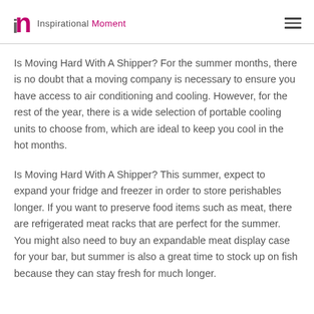Inspirational Moment
Is Moving Hard With A Shipper? For the summer months, there is no doubt that a moving company is necessary to ensure you have access to air conditioning and cooling. However, for the rest of the year, there is a wide selection of portable cooling units to choose from, which are ideal to keep you cool in the hot months.
Is Moving Hard With A Shipper? This summer, expect to expand your fridge and freezer in order to store perishables longer. If you want to preserve food items such as meat, there are refrigerated meat racks that are perfect for the summer. You might also need to buy an expandable meat display case for your bar, but summer is also a great time to stock up on fish because they can stay fresh for much longer.